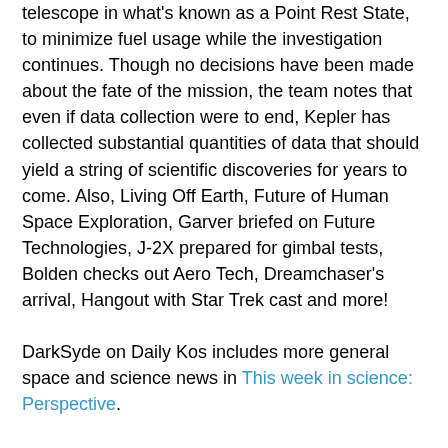telescope in what's known as a Point Rest State, to minimize fuel usage while the investigation continues. Though no decisions have been made about the fate of the mission, the team notes that even if data collection were to end, Kepler has collected substantial quantities of data that should yield a string of scientific discoveries for years to come. Also, Living Off Earth, Future of Human Space Exploration, Garver briefed on Future Technologies, J-2X prepared for gimbal tests, Bolden checks out Aero Tech, Dreamchaser's arrival, Hangout with Star Trek cast and more!
DarkSyde on Daily Kos includes more general space and science news in This week in science: Perspective.
Now, the rest of the news arranged from the farthest reaches of space and time to the surface of the Earth.
PhysOrg: Physicists suggest possible existence of other kinds of dark matter